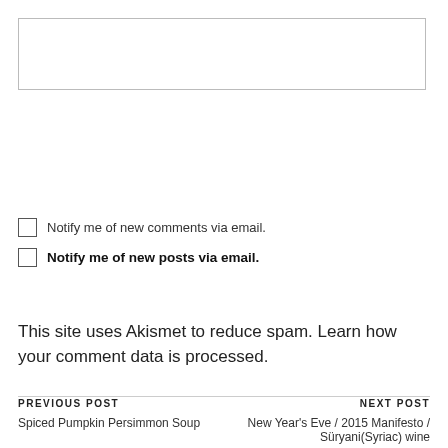[Figure (other): Empty textarea input box for comment]
Notify me of new comments via email.
Notify me of new posts via email.
This site uses Akismet to reduce spam. Learn how your comment data is processed.
PREVIOUS POST
Spiced Pumpkin Persimmon Soup
NEXT POST
New Year's Eve / 2015 Manifesto / Süryani(Syriac) wine